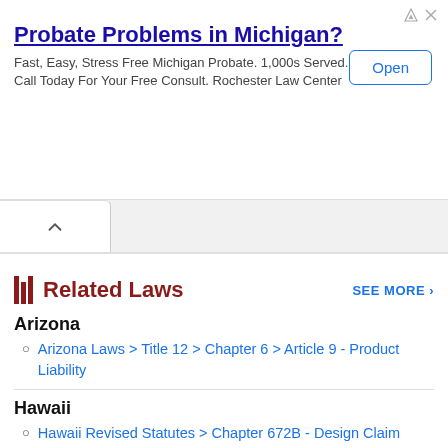[Figure (other): Advertisement banner: 'Probate Problems in Michigan?' with subtext 'Fast, Easy, Stress Free Michigan Probate. 1,000s Served. Call Today For Your Free Consult. Rochester Law Center' and an Open button]
Related Laws
SEE MORE ›
Arizona
Arizona Laws > Title 12 > Chapter 6 > Article 9 - Product Liability
Hawaii
Hawaii Revised Statutes > Chapter 672B - Design Claim Conciliation Panel
Idaho
Idaho Code > Title 6 > Chapter 14 - Product Liability